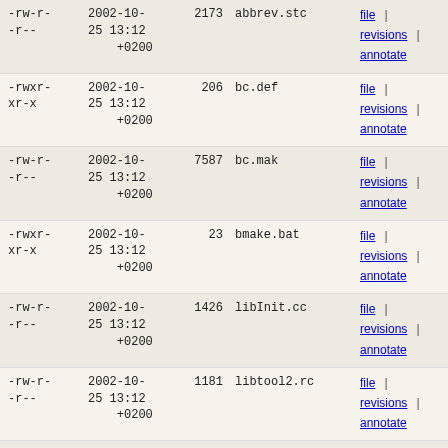-rw-r--r--  2002-10-25 13:12 +0200  2173  abbrev.stc  file | revisions | annotate
-rwxr-xr-x  2002-10-25 13:12 +0200  206  bc.def  file | revisions | annotate
-rw-r--r--  2002-10-25 13:12 +0200  7587  bc.mak  file | revisions | annotate
-rwxr-xr-x  2002-10-25 13:12 +0200  23  bmake.bat  file | revisions | annotate
-rw-r--r--  2002-10-25 13:12 +0200  1426  libInit.cc  file | revisions | annotate
-rw-r--r--  2002-10-25 13:12 +0200  1181  libtool2.rc  file | revisions | annotate
-rw-r--r--  2002-10-25 13:12 +0200  25  make.bat  file | revisions | annotate
-rw-r--r--  2002-10-25 13:12 +0200  268  nt.def  file | revisions | annotate
-rw-r--r--  2002-10-25 13:12 +0200  7587  nt.mak  file | revisions | annotate
-rw-r--r--  2002-10-25 13:12 +0200  7838  vms.mak  file | revisions | annotate